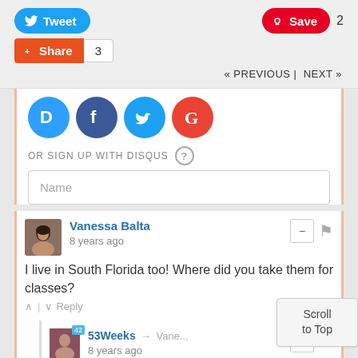[Figure (screenshot): Social sharing buttons: Tweet button, Pinterest Save button with count 2, Share button with count 3]
« PREVIOUS |  NEXT »
[Figure (screenshot): Social login icons: Disqus (blue D), Facebook (blue f), Twitter (blue bird), Google (red G)]
OR SIGN UP WITH DISQUS ?
[Figure (screenshot): Name input field placeholder]
Vanessa Balta
8 years ago
I live in South Florida too! Where did you take them for classes?
Reply
53Weeks → Vane...
8 years ago
This was through Miami Beach Parks and Rec!
Reply
Scroll to Top